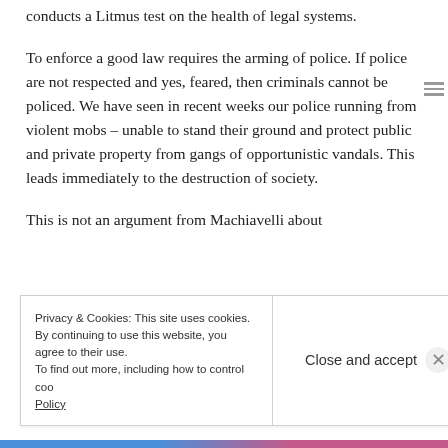conducts a Litmus test on the health of legal systems.
To enforce a good law requires the arming of police. If police are not respected and yes, feared, then criminals cannot be policed. We have seen in recent weeks our police running from violent mobs – unable to stand their ground and protect public and private property from gangs of opportunistic vandals. This leads immediately to the destruction of society.
This is not an argument from Machiavelli about
Privacy & Cookies: This site uses cookies. By continuing to use this website, you agree to their use. To find out more, including how to control cookies, see here: Cookie Policy